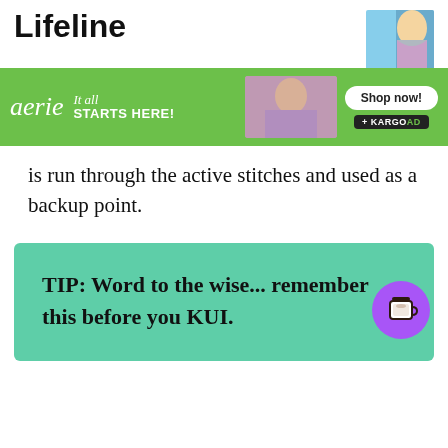Lifeline
[Figure (screenshot): Aerie advertisement banner with green background, aerie logo, 'It all STARTS HERE!' tagline, photo of woman, 'Shop now!' button, and Kargo Ad badge]
is run through the active stitches and used as a backup point.
TIP: Word to the wise... remember this before you KUI.
[Figure (illustration): Purple circular button with coffee cup icon]